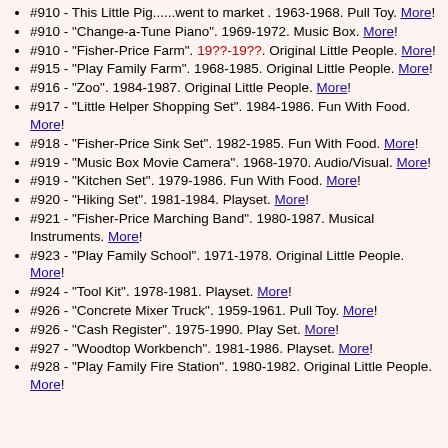#910 - 'This Little Pig......went to market'. 1963-1968. Pull Toy. More!
#910 - "Change-a-Tune Piano". 1969-1972. Music Box. More!
#910 - "Fisher-Price Farm". 19??-19??. Original Little People. More!
#915 - "Play Family Farm". 1968-1985. Original Little People. More!
#916 - "Zoo". 1984-1987. Original Little People. More!
#917 - "Little Helper Shopping Set". 1984-1986. Fun With Food. More!
#918 - "Fisher-Price Sink Set". 1982-1985. Fun With Food. More!
#919 - "Music Box Movie Camera". 1968-1970. Audio/Visual. More!
#919 - "Kitchen Set". 1979-1986. Fun With Food. More!
#920 - "Hiking Set". 1981-1984. Playset. More!
#921 - "Fisher-Price Marching Band". 1980-1987. Musical Instruments. More!
#923 - "Play Family School". 1971-1978. Original Little People. More!
#924 - "Tool Kit". 1978-1981. Playset. More!
#926 - "Concrete Mixer Truck". 1959-1961. Pull Toy. More!
#926 - "Cash Register". 1975-1990. Play Set. More!
#927 - "Woodtop Workbench". 1981-1986. Playset. More!
#928 - "Play Family Fire Station". 1980-1982. Original Little People. More!